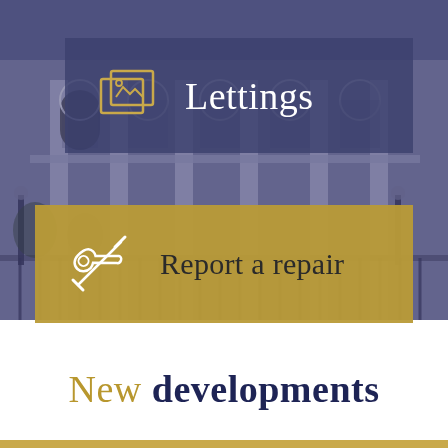[Figure (photo): Black and white photo of a grand classical Georgian or Victorian building facade with columns, arched windows, balconies, iron railings, and lamp posts, tinted blue-purple]
Lettings
Report a repair
New developments